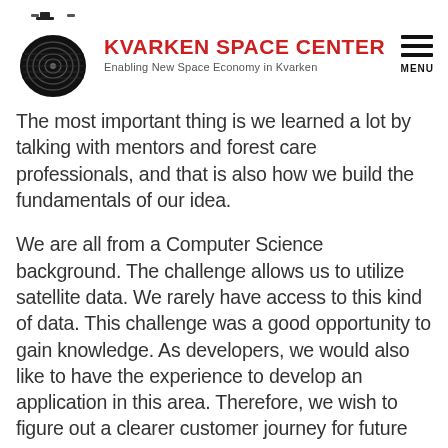KVARKEN SPACE CENTER — Enabling New Space Economy in Kvarken
The most important thing is we learned a lot by talking with mentors and forest care professionals, and that is also how we build the fundamentals of our idea.
We are all from a Computer Science background. The challenge allows us to utilize satellite data. We rarely have access to this kind of data. This challenge was a good opportunity to gain knowledge. As developers, we would also like to have the experience to develop an application in this area. Therefore, we wish to figure out a clearer customer journey for future